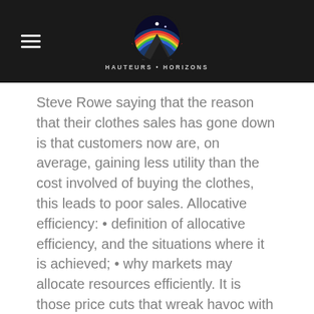HAUTEURS • HORIZONS
Steve Rowe saying that the reason that their clothes sales has gone down is that customers now are, on average, gaining less utility than the cost involved of buying the clothes, this leads to poor sales. Allocative efficiency: • definition of allocative efficiency, and the situations where it is achieved; • why markets may allocate resources efficiently. It is those price cuts that wreak havoc with rivals' profitability. For example, often a society with a younger population has a preference for production of education, over production of health care. First published 2002 There is three basic choices to be made: What, How, and for Whom to produce. Our Allocative Efficiency Occurs When study sets are convenient and easy to use